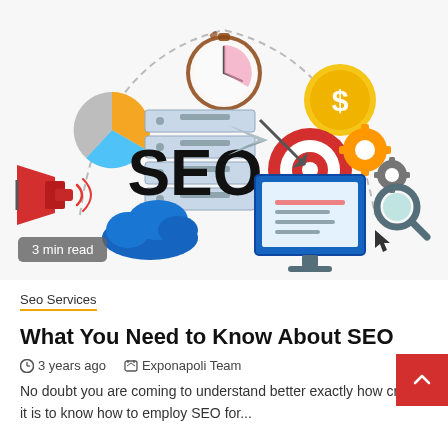[Figure (illustration): SEO concept infographic with icons: pie chart, stopwatch, dollar coin, server stack, target/bullseye, gears, magnifying glass, megaphone, cloud, computer monitor, paper airplane, dashed circular arc connecting icons, bold text 'SEO' in center]
3 min read
Seo Services
What You Need to Know About SEO
3 years ago   Exponapoli Team
No doubt you are coming to understand better exactly how critical it is to know how to employ SEO for...